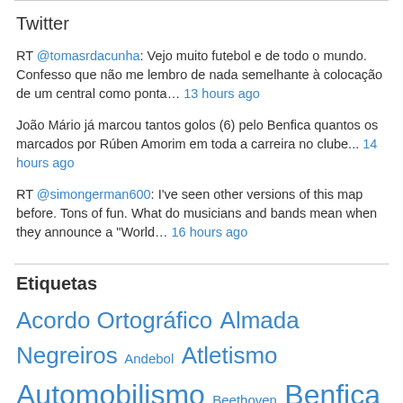Twitter
RT @tomasrdacunha: Vejo muito futebol e de todo o mundo. Confesso que não me lembro de nada semelhante à colocação de um central como ponta… 13 hours ago
João Mário já marcou tantos golos (6) pelo Benfica quantos os marcados por Rúben Amorim em toda a carreira no clube... 14 hours ago
RT @simongerman600: I've seen other versions of this map before. Tons of fun. What do musicians and bands mean when they announce a "World… 16 hours ago
Etiquetas
Acordo Ortográfico Almada Negreiros Andebol Atletismo Automobilismo Beethoven Benfica